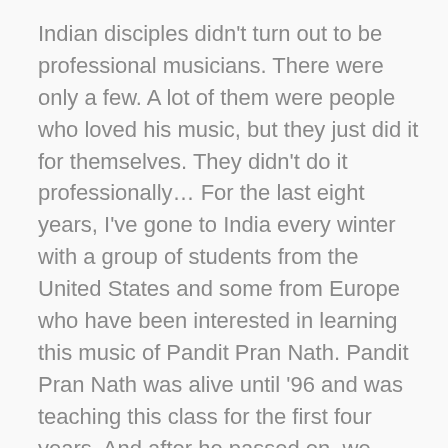Indian disciples didn't turn out to be professional musicians. There were only a few. A lot of them were people who loved his music, but they just did it for themselves. They didn't do it professionally… For the last eight years, I've gone to India every winter with a group of students from the United States and some from Europe who have been interested in learning this music of Pandit Pran Nath. Pandit Pran Nath was alive until '96 and was teaching this class for the first four years. And after he passed on, we continued to take these students over every year. In fact they're going this year too.